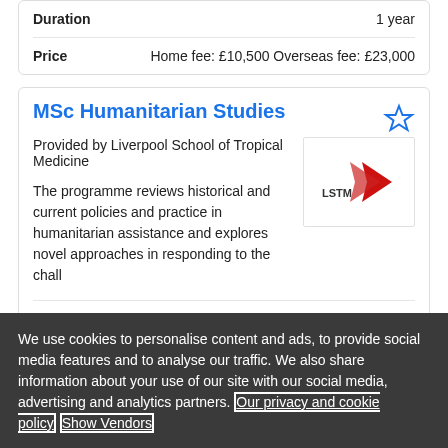| Field | Value |
| --- | --- |
| Duration | 1 year |
| Price | Home fee: £10,500 Overseas fee: £23,000 |
MSc Humanitarian Studies
Provided by Liverpool School of Tropical Medicine
[Figure (logo): LSTM (Liverpool School of Tropical Medicine) logo with red arrow/chevron graphic]
The programme reviews historical and current policies and practice in humanitarian assistance and explores novel approaches in responding to the chall
| Field | Value |
| --- | --- |
| Location / delivery | Campus at Liverpool |
We use cookies to personalise content and ads, to provide social media features and to analyse our traffic. We also share information about your use of our site with our social media, advertising and analytics partners. Our privacy and cookie policy Show Vendors